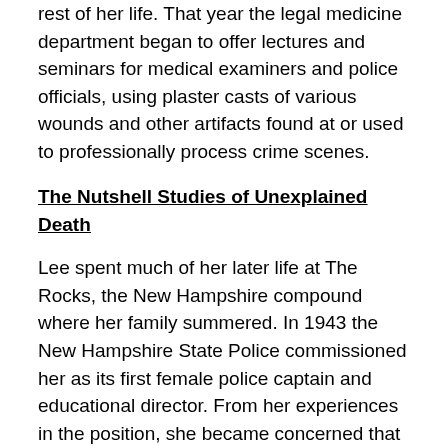rest of her life. That year the legal medicine department began to offer lectures and seminars for medical examiners and police officials, using plaster casts of various wounds and other artifacts found at or used to professionally process crime scenes.
The Nutshell Studies of Unexplained Death
Lee spent much of her later life at The Rocks, the New Hampshire compound where her family summered. In 1943 the New Hampshire State Police commissioned her as its first female police captain and educational director. From her experiences in the position, she became concerned that patrol officers and investigators did not secure crime scenes adequately and missed evidence that might have helped to close their cases. She visualized a seminar to be held at the Department of